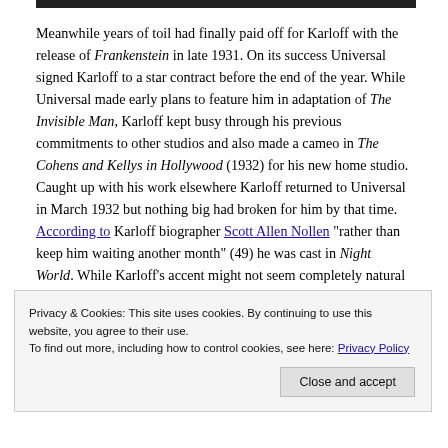[Figure (photo): Dark image bar at the top of the page]
Meanwhile years of toil had finally paid off for Karloff with the release of Frankenstein in late 1931. On its success Universal signed Karloff to a star contract before the end of the year. While Universal made early plans to feature him in adaptation of The Invisible Man, Karloff kept busy through his previous commitments to other studios and also made a cameo in The Cohens and Kellys in Hollywood (1932) for his new home studio. Caught up with his work elsewhere Karloff returned to Universal in March 1932 but nothing big had broken for him by that time. According to Karloff biographer Scott Allen Nollen "rather than keep him waiting another month" (49) he was cast in Night World. While Karloff's accent might not seem completely natural in Night World his
Privacy & Cookies: This site uses cookies. By continuing to use this website, you agree to their use. To find out more, including how to control cookies, see here: Privacy Policy
Close and accept